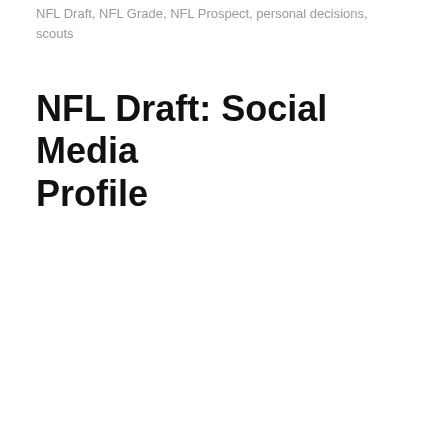NFL Draft, NFL Grade, NFL Prospect, personal decisions, scouts
NFL Draft: Social Media Profile